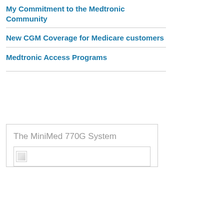My Commitment to the Medtronic Community
New CGM Coverage for Medicare customers
Medtronic Access Programs
[Figure (screenshot): Card box titled 'The MiniMed 770G System' with a broken image placeholder below the title]